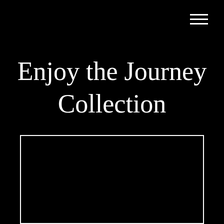Enjoy the Journey Collection
[Figure (other): A rectangular outlined box (white border on black background) at the bottom of the page, representing a placeholder image frame for the collection.]